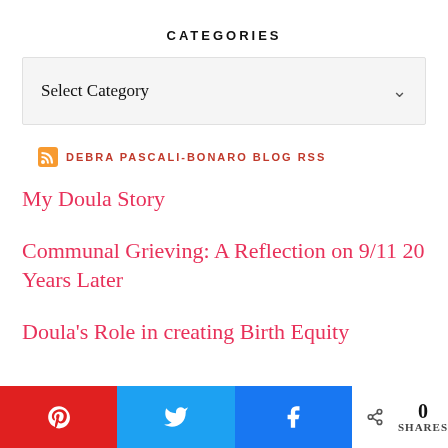CATEGORIES
Select Category
DEBRA PASCALI-BONARO BLOG RSS
My Doula Story
Communal Grieving: A Reflection on 9/11 20 Years Later
Doula's Role in creating Birth Equity
0 SHARES